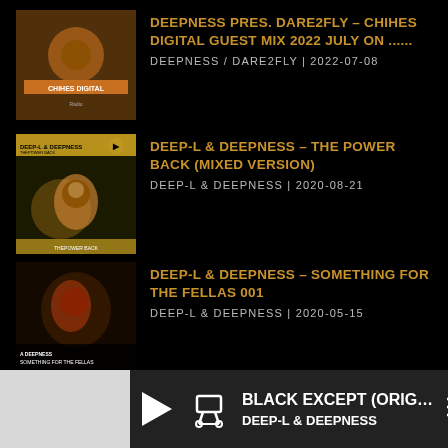DEEPNESS PRES. DARE2FLY – CHIHES DIGITAL GUEST MIX 2022 JULY ON ...... | DEEPNESS / DARE2FLY | 2022-07-08
DEEP-L & DEEPNESS – THE POWER BACK (MIXED VERSION) | DEEP-L & DEEPNESS | 2020-08-21
DEEP-L & DEEPNESS – SOMETHING FOR THE FELLAS 001 | DEEP-L & DEEPNESS | 2020-05-15
CONTACTS
https://distantsrecords.com
info@distantsrecords.com
BLACK EXCEPT (ORIG… DEEP-L & DEEPNESS